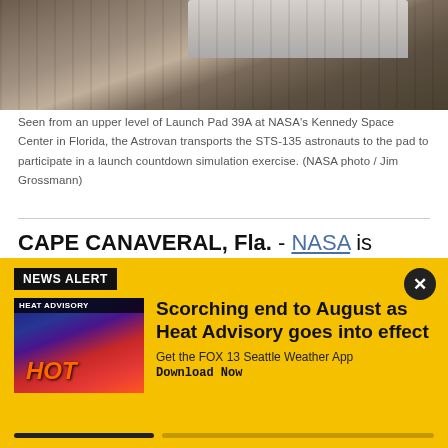[Figure (photo): Aerial/elevated view of the Astrovan vehicle near Launch Pad 39A at Kennedy Space Center, seen from above on a concrete surface.]
Seen from an upper level of Launch Pad 39A at NASA’s Kennedy Space Center in Florida, the Astrovan transports the STS-135 astronauts to the pad to participate in a launch countdown simulation exercise. (NASA photo / Jim Grossmann)
CAPE CANAVERAL, Fla. - NASA is hoping you can help them come up with a next-generation ‘Astrovan’ for
[Figure (screenshot): News Alert banner with yellow background showing a Heat Advisory weather map thumbnail and headline: 'Scorching end to August as Heat Advisory goes into effect'. Includes 'Get the FOX 13 Seattle Weather App Download Now' text and a progress bar at the bottom.]